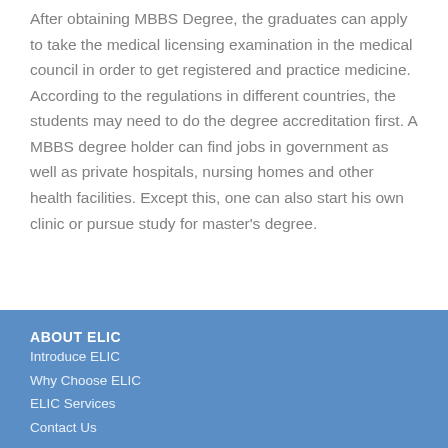After obtaining MBBS Degree, the graduates can apply to take the medical licensing examination in the medical council in order to get registered and practice medicine. According to the regulations in different countries, the students may need to do the degree accreditation first. A MBBS degree holder can find jobs in government as well as private hospitals, nursing homes and other health facilities. Except this, one can also start his own clinic or pursue study for master's degree.
ABOUT ELIC
Introduce ELIC
Why Choose ELIC
ELIC Services
Contact Us